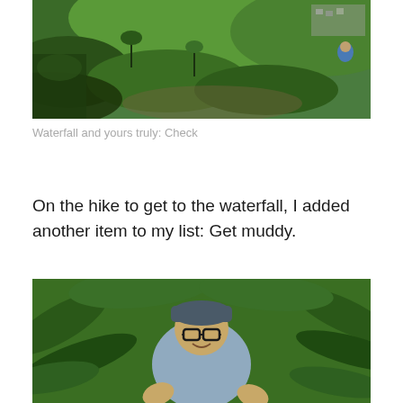[Figure (photo): Aerial/hillside view of a steep green hillside with dense ferns and tropical vegetation, a hiker in a blue jacket visible in the upper right area, with a town or settlement visible in the background upper right]
Waterfall and yours truly: Check
On the hike to get to the waterfall, I added another item to my list: Get muddy.
[Figure (photo): A smiling woman wearing glasses and a dark cap and light blue rain jacket, surrounded by large green ferns and tropical vegetation]